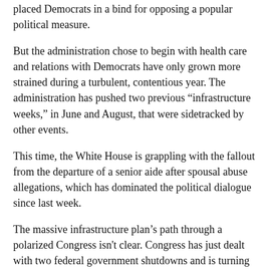placed Democrats in a bind for opposing a popular political measure.
But the administration chose to begin with health care and relations with Democrats have only grown more strained during a turbulent, contentious year. The administration has pushed two previous “infrastructure weeks,” in June and August, that were sidetracked by other events.
This time, the White House is grappling with the fallout from the departure of a senior aide after spousal abuse allegations, which has dominated the political dialogue since last week.
The massive infrastructure plan’s path through a polarized Congress isn't clear. Congress has just dealt with two federal government shutdowns and is turning its attention to immigration.
Administration officials previewing the plan said it would feature two key components: an injection of funding for new investments and help speed up repairs of crumbling roads and airports, as well as a